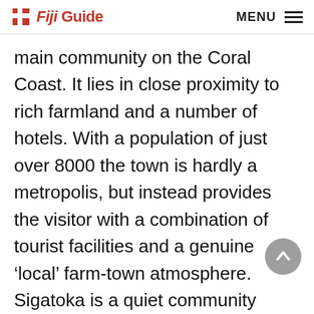Fiji Guide   MENU
main community on the Coral Coast. It lies in close proximity to rich farmland and a number of hotels. With a population of just over 8000 the town is hardly a metropolis, but instead provides the visitor with a combination of tourist facilities and a genuine ‘local’ farm-town atmosphere. Sigatoka is a quiet community marked by a gorgeous mosque and a lengthy bridge that crosses the river. Duty-free stores are abundant here and it’s much more pleasant to conduct business with Sigatoka’s small-town merchants than with those in Nadi.